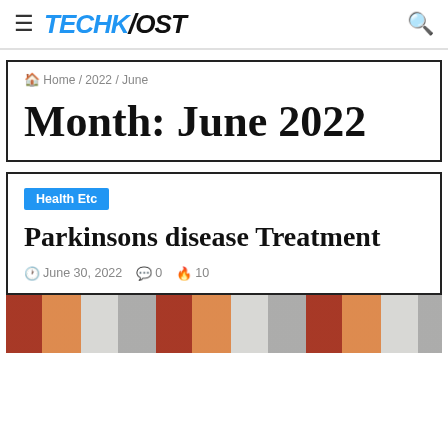TECHKPOST
Home / 2022 / June
Month: June 2022
Health Etc
Parkinsons disease Treatment
June 30, 2022  0  10
[Figure (photo): Photo of medicine/pill bottles, orange and red colored, viewed from the side]